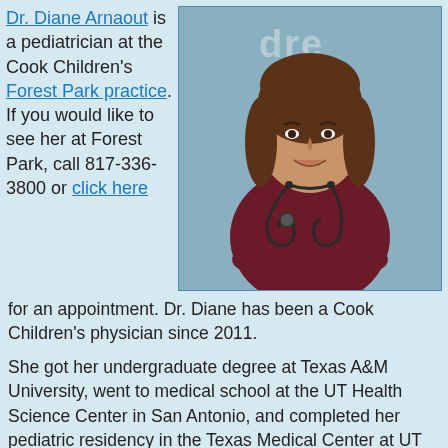Dr. Diane Arnaout is a pediatrician at the Cook Children's Forest Park practice. If you would like to see her at Forest Park, call 817-336-3800 or click here for an appointment. Dr. Diane has been a Cook Children's physician since 2011.
[Figure (photo): Professional photo of Dr. Diane Arnaout, a female pediatrician with long brown hair wearing dark red/maroon scrubs with a stethoscope around her neck, arms crossed, smiling, with a light blue/gray background featuring partial text 'Cook Children's Forest Park' logo]
She got her undergraduate degree at Texas A&M University, went to medical school at the UT Health Science Center in San Antonio, and completed her pediatric residency in the Texas Medical Center at UT Health Science Center in Houston.
She is board certified by the American Board of